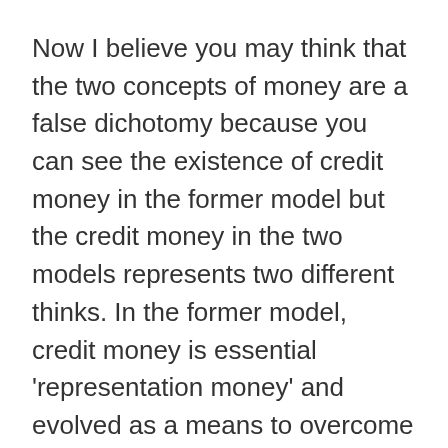Now I believe you may think that the two concepts of money are a false dichotomy because you can see the existence of credit money in the former model but the credit money in the two models represents two different thinks. In the former model, credit money is essential 'representation money' and evolved as a means to overcome the high transaction costs of carting around a bulky medium of exchange (e.g. gold). This is completely different to the second theory,